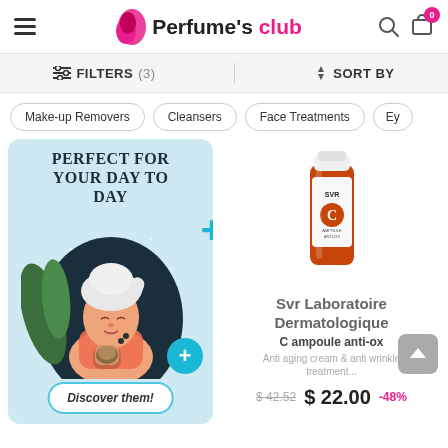Perfume's club
FILTERS (3)    SORT BY
Make-up Removers
Cleansers
Face Treatments
Ey
[Figure (illustration): Promotional banner with illustration of woman with towel on head applying skincare. Text reads 'PERFECT FOR YOUR DAY TO DAY'. Button says 'Discover them!']
[Figure (photo): Product photo of SVR Laboratoire Dermatologique C ampoule anti-ox bottle]
Svr Laboratoire Dermatologique
C ampoule anti-ox
Anti aging cream & anti wrinkle treatment...
$42.52  $ 22.00  -48%